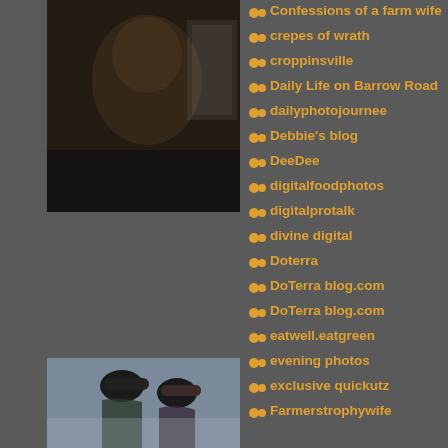[Figure (photo): Dark photo of a person seen from behind/side, indoors near a window]
[Figure (photo): Two children in baseball caps seen in silhouette profile]
Confessions of a farm wife
crepes of wrath
croppinsville
Daily Life on Barrow Road
dailyphotojournee
Debbie's blog
DeeDee
digitalfoodphotos
digitalprotalk
divine digital
Doterra
DoTerra blog.com
DoTerra blog.com
eatwell.eatgreen
evening photos
exclusive quickutz
Farmerstrophywife